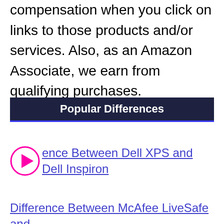compensation when you click on links to those products and/or services. Also, as an Amazon Associate, we earn from qualifying purchases.
Popular Differences
Difference Between Dell XPS and Dell Inspiron
Difference Between McAfee LiveSafe and